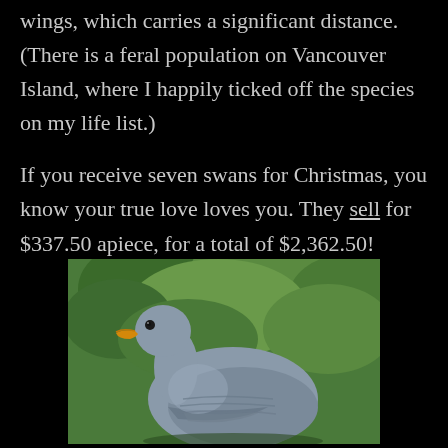wings, which carries a significant distance. (There is a feral population on Vancouver Island, where I happily ticked off the species on my life list.)
If you receive seven swans for Christmas, you know your true love loves you. They sell for $337.50 apiece, for a total of $2,362.50!
[Figure (photo): Close-up photograph of a greylag goose with a grey body, orange beak, and dark eye, set against a green leafy background.]